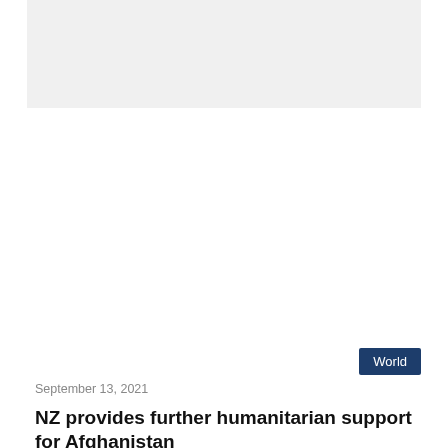[Figure (photo): Gray placeholder image area at the top of the article]
World
September 13, 2021
NZ provides further humanitarian support for Afghanistan
Wellington: New Zealand is providing a further NZ$3